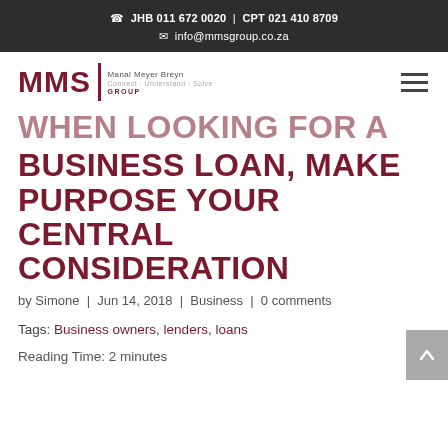JHB 011 672 0020 | CPT 021 410 8709 | info@mmsgroup.co.za
[Figure (logo): MMS Group logo with text 'Manal Meyer Breyn — Connect. Understand. Solve.' and hamburger menu icon]
WHEN LOOKING FOR A BUSINESS LOAN, MAKE PURPOSE YOUR CENTRAL CONSIDERATION
by Simone | Jun 14, 2018 | Business | 0 comments
Tags: Business owners, lenders, loans
Reading Time: 2 minutes